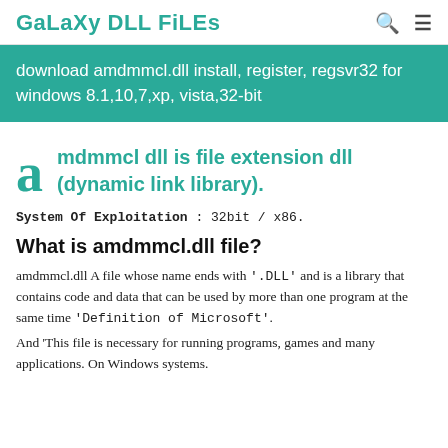GaLaXy DLL FiLEs
download amdmmcl.dll install, register, regsvr32 for windows 8.1,10,7,xp, vista,32-bit
amdmmcl dll is file extension dll (dynamic link library).
System Of Exploitation : 32bit / x86.
What is amdmmcl.dll file?
amdmmcl.dll A file whose name ends with '.DLL' and is a library that contains code and data that can be used by more than one program at the same time 'Definition of Microsoft'.
And 'This file is necessary for running programs, games and many applications. On Windows systems.